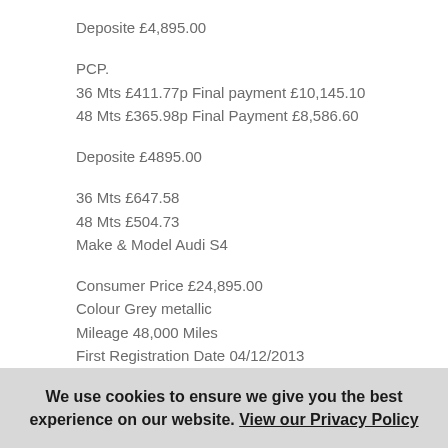Deposite £4,895.00
PCP.
36 Mts £411.77p Final payment £10,145.10
48 Mts £365.98p Final Payment £8,586.60
Deposite £4895.00
36 Mts £647.58
48 Mts £504.73
Make & Model Audi S4
Consumer Price £24,895.00
Colour Grey metallic
Mileage 48,000 Miles
First Registration Date 04/12/2013
Previous Owners 0
MOT Expiry 01/2018
Engine Size (in ccm) 2,995
Power 328 BHP
We use cookies to ensure we give you the best experience on our website. View our Privacy Policy